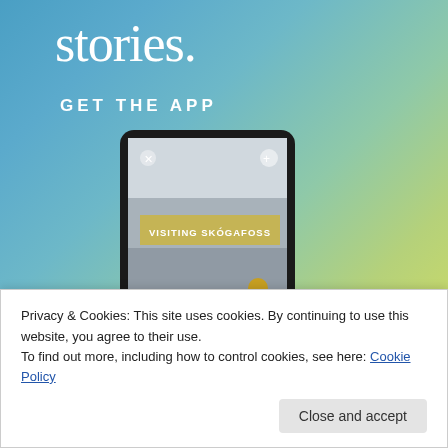[Figure (screenshot): App promotion banner with gradient blue-green-yellow background showing 'stories.' heading, 'GET THE APP' subheading, and a smartphone mockup displaying a travel story about 'VISITING SKÓGAFOSS' waterfall]
Privacy & Cookies: This site uses cookies. By continuing to use this website, you agree to their use.
To find out more, including how to control cookies, see here: Cookie Policy
Close and accept